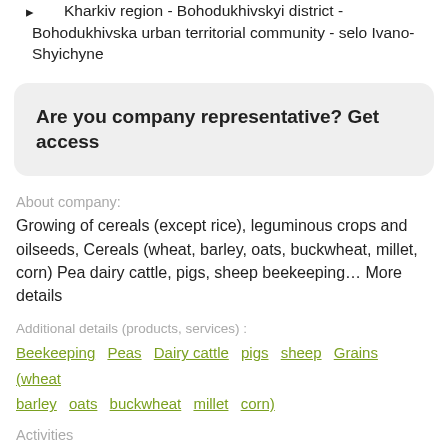Kharkiv region - Bohodukhivskyi district - Bohodukhivska urban territorial community - selo Ivano-Shyichyne
Are you company representative? Get access
About company:
Growing of cereals (except rice), leguminous crops and oilseeds, Cereals (wheat, barley, oats, buckwheat, millet, corn) Pea dairy cattle, pigs, sheep beekeeping… More details
Additional details (products, services) :
Beekeeping  Peas  Dairy cattle  pigs  sheep  Grains (wheat  barley  oats  buckwheat  millet  corn)
Activities
Animal husbandry
> Cattle
> Sheep farming